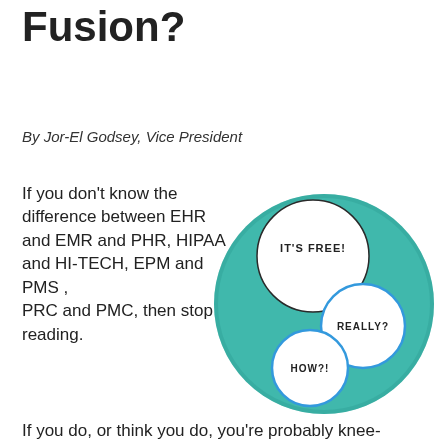Fuss about Practice Fusion?
By Jor-El Godsey, Vice President
If you don't know the difference between EHR and EMR and PHR, HIPAA and HI-TECH, EPM and PMS , PRC and PMC, then stop reading.
[Figure (infographic): Teal circular infographic with three overlapping white speech bubbles labeled IT'S FREE!, REALLY?, and HOW?!]
If you do, or think you do, you're probably knee-